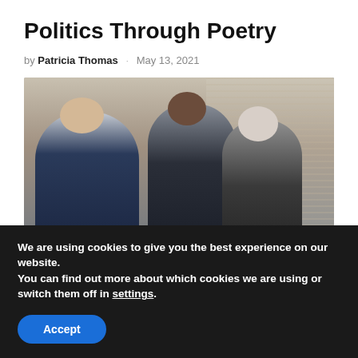Politics Through Poetry
by Patricia Thomas · May 13, 2021
[Figure (photo): Three men in formal attire standing and conversing in front of a stone wall, appearing to be at a memorial or government building.]
We are using cookies to give you the best experience on our website.
You can find out more about which cookies we are using or switch them off in settings.
Accept